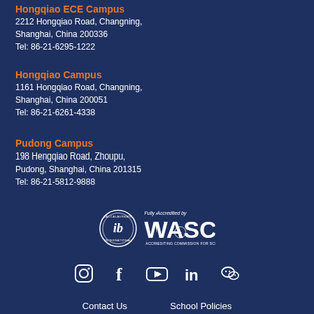Hongqiao ECE Campus
2212 Hongqiao Road, Changning,
Shanghai, China 200336
Tel: 86-21-6295-1222
Hongqiao Campus
1161 Hongqiao Road, Changning,
Shanghai, China 200051
Tel: 86-21-6261-4338
Pudong Campus
198 Hengqiao Road, Zhoupu,
Pudong, Shanghai, China 201315
Tel: 86-21-5812-9888
[Figure (logo): IB (International Baccalaureate) circular logo in white]
[Figure (logo): WASC Fully Accredited by WASC Accrediting Commission for Schools logo in white]
[Figure (infographic): Social media icons: Instagram, Facebook, YouTube, LinkedIn, WeChat in white]
Contact Us    School Policies